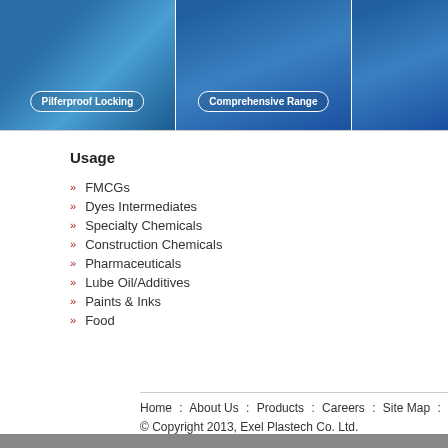[Figure (photo): Product photo strip showing pilferproof locking mechanism and comprehensive range of blue barrels/drums, with labeled rounded-rectangle overlays]
Usage
FMCGs
Dyes Intermediates
Specialty Chemicals
Construction Chemicals
Pharmaceuticals
Lube Oil/Additives
Paints & Inks
Food
Home : About Us : Products : Careers : Site Map : Contact Us
© Copyright 2013, Exel Plastech Co. Ltd.